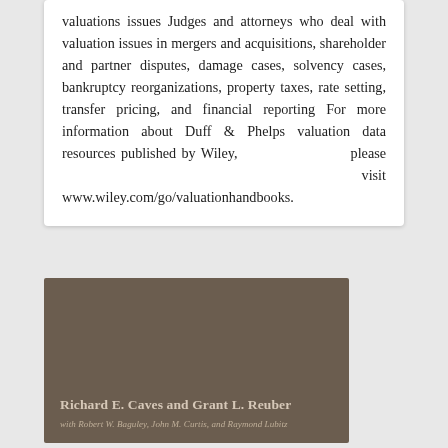valuations issues Judges and attorneys who deal with valuation issues in mergers and acquisitions, shareholder and partner disputes, damage cases, solvency cases, bankruptcy reorganizations, property taxes, rate setting, transfer pricing, and financial reporting For more information about Duff & Phelps valuation data resources published by Wiley, please visit www.wiley.com/go/valuationhandbooks.
[Figure (illustration): Book cover with dark brown background showing author names: Richard E. Caves and Grant L. Reuber, with contributors: with Robert W. Baguley, John M. Curtis, and Raymond Lubitz]